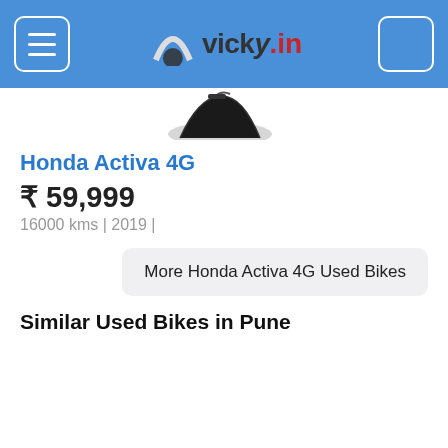vicky.in
[Figure (photo): Partial top view of a Honda Activa 4G scooter, dark colored, cut off at top of page]
Honda Activa 4G
₹ 59,999
16000 kms | 2019 |
More Honda Activa 4G Used Bikes
Similar Used Bikes in Pune
[Figure (photo): Image area for KTM RC 200 used bike listing, white/blank area]
KTM RC 200
₹ 1,50...